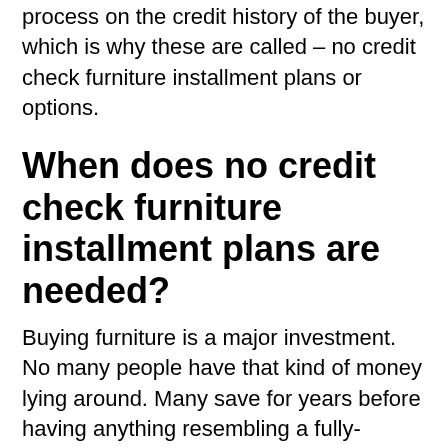process on the credit history of the buyer, which is why these are called – no credit check furniture installment plans or options.
When does no credit check furniture installment plans are needed?
Buying furniture is a major investment. No many people have that kind of money lying around. Many save for years before having anything resembling a fully-furnished home. Hence, it makes sense why many